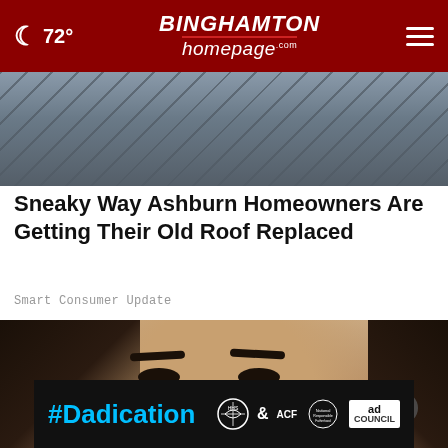72° BINGHAMTON homepage .com
[Figure (photo): Damaged rooftop with broken slate/shingle tiles scattered around]
Sneaky Way Ashburn Homeowners Are Getting Their Old Roof Replaced
Smart Consumer Update
[Figure (photo): Close-up of a woman applying a nasal strip or medical device to her nose]
[Figure (other): #Dadication advertisement banner with HHS, ACF, and Ad Council logos]